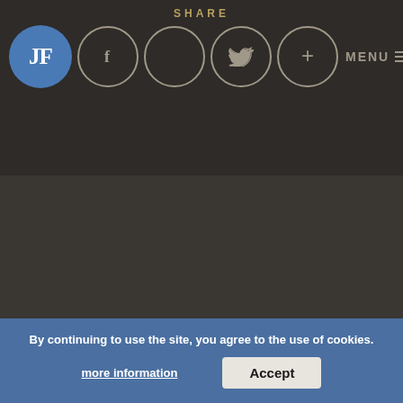SHARE
[Figure (logo): JF logo: blue circle with white letters JF, followed by social media icon circles (Facebook f, empty circle, Twitter bird, plus +), and MENU hamburger text]
Published infacades
Algemene Voorwaarden
General Terms and Conditions
By continuing to use the site, you agree to the use of cookies.
more information
Accept